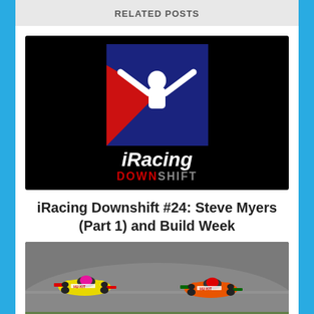RELATED POSTS
[Figure (logo): iRacing Downshift logo on black background — iRacing badge with white figure raising arms on red and blue background, with italic 'iRacing' text and 'DOWNSHIFT' text below]
iRacing Downshift #24: Steve Myers (Part 1) and Build Week
[Figure (photo): Two formula racing cars on a track, one yellow and one orange/red, both with HU-KIT branding, racing on a grey asphalt circuit]